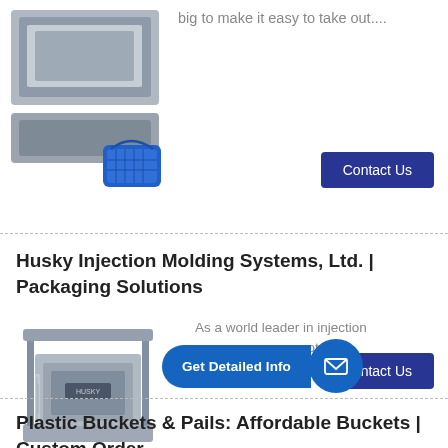big to make it easy to take out....
[Figure (photo): Injection mold with blue plastic basket product]
[Figure (other): Contact Us button (dark blue)]
Husky Injection Molding Systems, Ltd. | Packaging Solutions
[Figure (photo): Industrial injection molding machine unit]
As a world leader in injection ... gen...EM...
[Figure (other): Get Detailed Info button with mail icon overlay]
[Figure (other): Contact Us button (dark blue)]
Plastic Buckets & Pails: Affordable Buckets | Custom Order ...